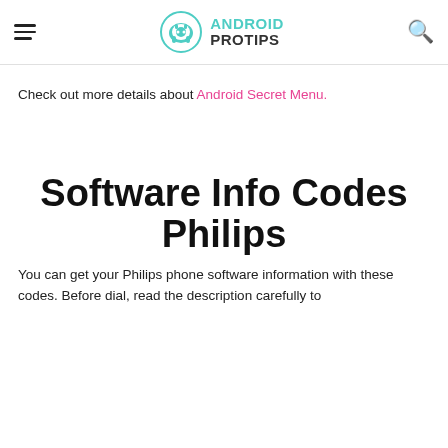Android Pro Tips
Check out more details about Android Secret Menu.
Software Info Codes Philips
You can get your Philips phone software information with these codes. Before dial, read the description carefully to